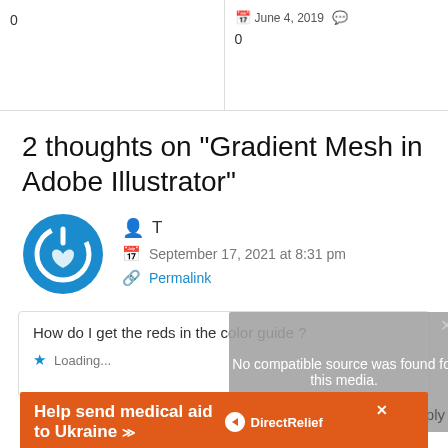0
June 4, 2019  0
2 thoughts on “Gradient Mesh in Adobe Illustrator”
T
September 17, 2021 at 8:31 pm
Permalink
How do I get the reds in the color guide ?
Loading...
No compatible source was found for this media.
Reply
Help send medical aid to Ukraine
DirectRelief
CREATE GRADIENTS